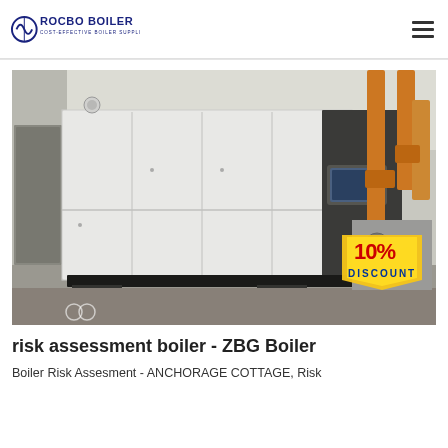ROCBO BOILER - COST-EFFECTIVE BOILER SUPPLIER
[Figure (photo): Industrial condensing boiler unit installed in a boiler room, white casing with dark panel and touchscreen display, orange gas supply pipes visible on right side, 10% DISCOUNT badge overlay in bottom right corner]
risk assessment boiler - ZBG Boiler
Boiler Risk Assesment - ANCHORAGE COTTAGE, Risk